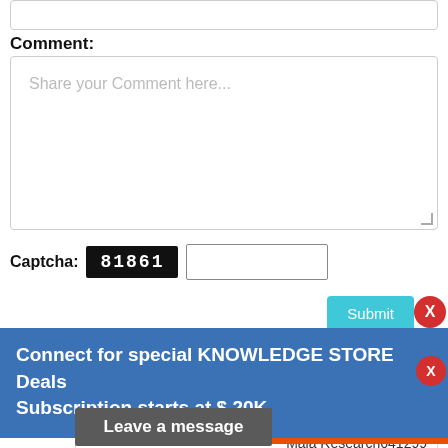Comment:
Share your Comment here...
Captcha: 81861
Submit
Connect for special KNOWLEDGE STORE Deals Subscription starts at $ 20K
Maia Research641299
Request For Sample Of This Report
Buy Any Report Avail 20% Code:
Leave a message
Did you